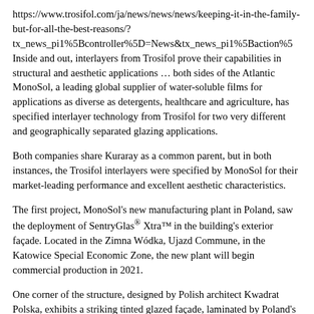https://www.trosifol.com/ja/news/news/news/keeping-it-in-the-family-but-for-all-the-best-reasons/?
tx_news_pi1%5Bcontroller%5D=News&tx_news_pi1%5Baction%5D
Inside and out, interlayers from Trosifol prove their capabilities in structural and aesthetic applications … both sides of the Atlantic
MonoSol, a leading global supplier of water-soluble films for applications as diverse as detergents, healthcare and agriculture, has specified interlayer technology from Trosifol for two very different and geographically separated glazing applications.
Both companies share Kuraray as a common parent, but in both instances, the Trosifol interlayers were specified by MonoSol for their market-leading performance and excellent aesthetic characteristics.
The first project, MonoSol's new manufacturing plant in Poland, saw the deployment of SentryGlas® Xtra™ in the building's exterior façade. Located in the Zimna Wódka, Ujazd Commune, in the Katowice Special Economic Zone, the new plant will begin commercial production in 2021.
One corner of the structure, designed by Polish architect Kwadrat Polska, exhibits a striking tinted glazed façade, laminated by Poland's Q4Glass, ABJ Investors Sp. z o.o., Spółka Komandytowa. Like many large-scale glass installations, strength, edge stability